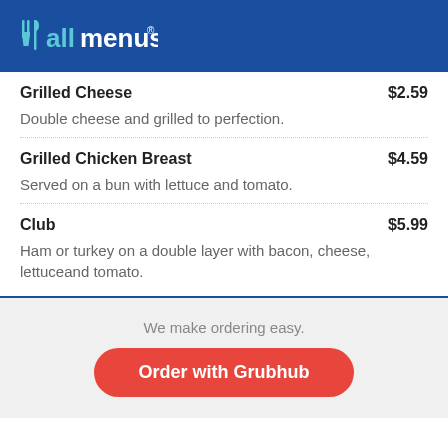allmenus
Grilled Cheese $2.59 — Double cheese and grilled to perfection.
Grilled Chicken Breast $4.59 — Served on a bun with lettuce and tomato.
Club $5.99 — Ham or turkey on a double layer with bacon, cheese, lettuceand tomato.
We make ordering easy.
Order with Grubhub